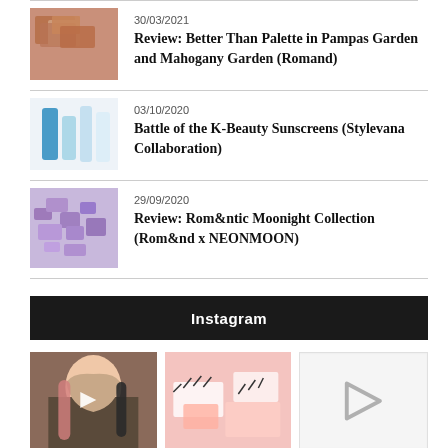30/03/2021 — Review: Better Than Palette in Pampas Garden and Mahogany Garden (Romand)
03/10/2020 — Battle of the K-Beauty Sunscreens (Stylevana Collaboration)
29/09/2020 — Review: Rom&ntic Moonight Collection (Rom&nd x NEONMOON)
Instagram
[Figure (photo): Instagram grid showing three posts: a woman with pink-streaked hair (video), beauty/lashes products on pink background, and an empty placeholder with play button]